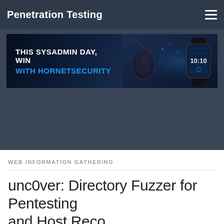Penetration Testing
[Figure (photo): Banner advertisement: THIS SYSADMIN DAY, WIN WITH HORNETSECURITY — dark background with mouse, smartwatch showing 10:10]
WEB INFORMATION GATHERING
unc0ver: Directory Fuzzer for Pentesting and Host Recon